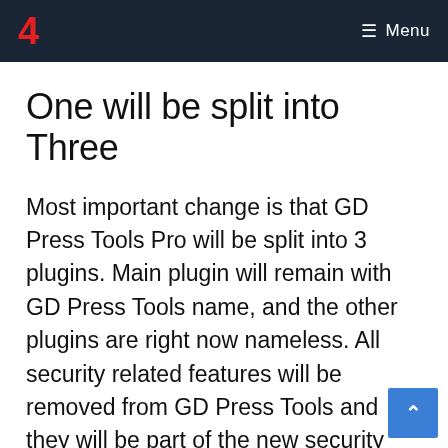4  Menu
One will be split into Three
Most important change is that GD Press Tools Pro will be split into 3 plugins. Main plugin will remain with GD Press Tools name, and the other plugins are right now nameless. All security related features will be removed from GD Press Tools and they will be part of the new security related plugin. New security plugin will have many more features than current GD Press Tools and it would be quite inefficient to merge everything inside GD Press Tools. Current